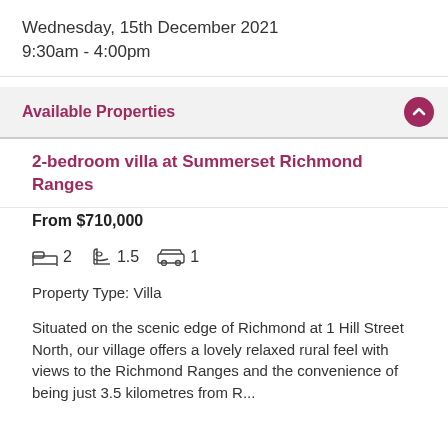Wednesday, 15th December 2021
9:30am - 4:00pm
Available Properties
2-bedroom villa at Summerset Richmond Ranges
From $710,000
🛏 2   🛁 1.5   🚗 1
Property Type: Villa
Situated on the scenic edge of Richmond at 1 Hill Street North, our village offers a lovely relaxed rural feel with views to the Richmond Ranges and the convenience of being just 3.5 kilometres from R...